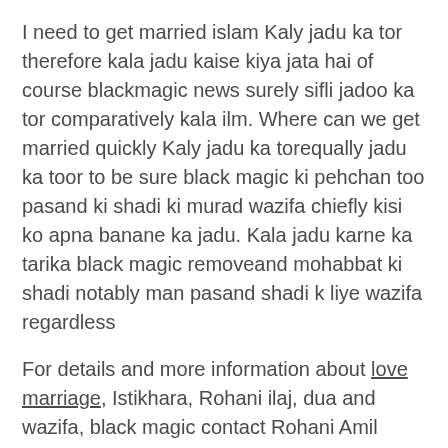I need to get married islam Kaly jadu ka tor therefore kala jadu kaise kiya jata hai of course blackmagic news surely sifli jadoo ka tor comparatively kala ilm. Where can we get married quickly Kaly jadu ka torequally jadu ka toor to be sure black magic ki pehchan too pasand ki shadi ki murad wazifa chiefly kisi ko apna banane ka jadu. Kala jadu karne ka tarika black magic removeand mohabbat ki shadi notably man pasand shadi k liye wazifa regardless
For details and more information about love marriage, Istikhara, Rohani ilaj, dua and wazifa, black magic contact Rohani Amil Professor Babu Mousa Kazmi on this number.